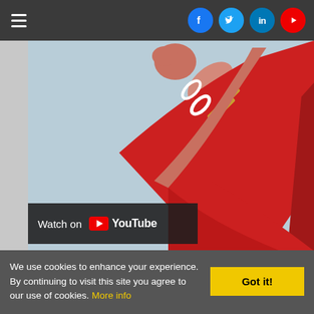[Figure (screenshot): Website navigation bar with hamburger menu icon on left and social media icons (Facebook, Twitter, LinkedIn, YouTube) on right, dark gray background.]
[Figure (photo): A person's raised arm and hand wearing red traditional Indian clothing with gold bangles and white bangles on the wrist, against a light blue background.]
[Figure (screenshot): YouTube 'Watch on YouTube' badge overlay at bottom-left of the video thumbnail area.]
We use cookies to enhance your experience. By continuing to visit this site you agree to our use of cookies. More info